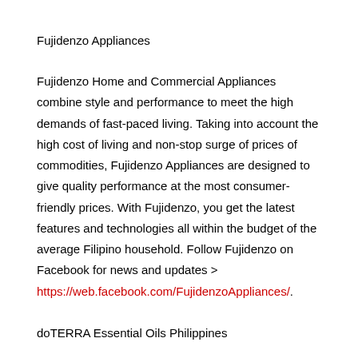Fujidenzo Appliances
Fujidenzo Home and Commercial Appliances combine style and performance to meet the high demands of fast-paced living. Taking into account the high cost of living and non-stop surge of prices of commodities, Fujidenzo Appliances are designed to give quality performance at the most consumer-friendly prices. With Fujidenzo, you get the latest features and technologies all within the budget of the average Filipino household. Follow Fujidenzo on Facebook for news and updates > https://web.facebook.com/FujidenzoAppliances/.
doTERRA Essential Oils Philippines